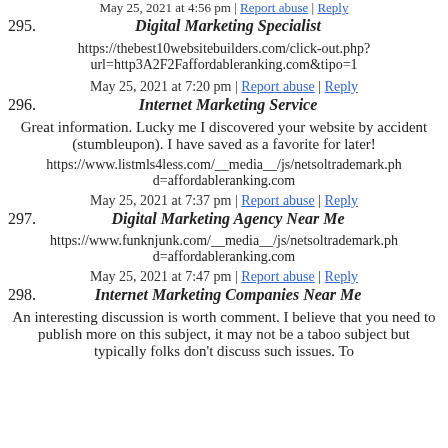May 25, 2021 at 4:56 pm | Report abuse | Reply
295. Digital Marketing Specialist
https://thebest10websitebuilders.com/click-out.php?url=http3A2F2Faffordableranking.com&tipo=1
May 25, 2021 at 7:20 pm | Report abuse | Reply
296. Internet Marketing Service
Great information. Lucky me I discovered your website by accident (stumbleupon). I have saved as a favorite for later!
https://www.listmls4less.com/__media__/js/netsoltrademark.php?d=affordableranking.com
May 25, 2021 at 7:37 pm | Report abuse | Reply
297. Digital Marketing Agency Near Me
https://www.funknjunk.com/__media__/js/netsoltrademark.php?d=affordableranking.com
May 25, 2021 at 7:47 pm | Report abuse | Reply
298. Internet Marketing Companies Near Me
An interesting discussion is worth comment. I believe that you need to publish more on this subject, it may not be a taboo subject but typically folks don't discuss such issues. To…